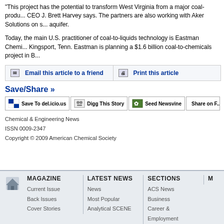"This project has the potential to transform West Virginia from a major coal-produ... CEO J. Brett Harvey says. The partners are also working with Aker Solutions on s... aquifer.
Today, the main U.S. practitioner of coal-to-liquids technology is Eastman Chemi... Kingsport, Tenn. Eastman is planning a $1.6 billion coal-to-chemicals project in B...
Email this article to a friend
Print this article
Save/Share »
Save To del.icio.us
Digg This Story
Seed Newsvine
Share on F...
Chemical & Engineering News
ISSN 0009-2347
Copyright © 2009 American Chemical Society
MAGAZINE | LATEST NEWS | SECTIONS | M
Current Issue | News | ACS News
Back Issues | Most Popular | Business
Cover Stories | Analytical SCENE | Career & Employment